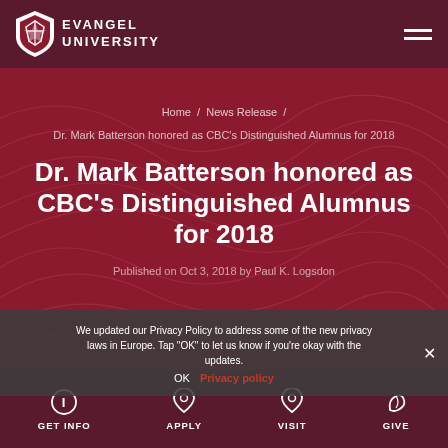Evangel University
Dr. Mark Batterson honored as CBC's Distinguished Alumnus for 2018
Home / News Release / Dr. Mark Batterson honored as CBC's Distinguished Alumnus for 2018
Published on Oct 3, 2018 by Paul K. Logsdon
We updated our Privacy Policy to address some of the new privacy laws in Europe. Tap "OK" to let us know if you're okay with the updates. Privacy policy
GET INFO  APPLY  VISIT  GIVE